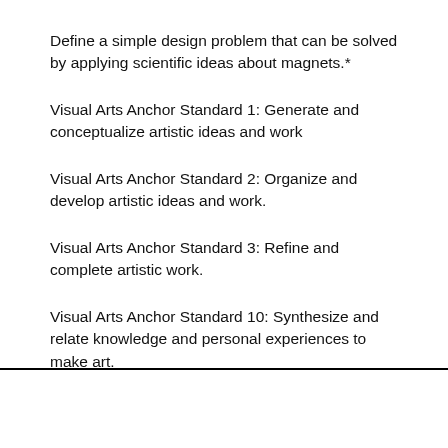Define a simple design problem that can be solved by applying scientific ideas about magnets.*
Visual Arts Anchor Standard 1: Generate and conceptualize artistic ideas and work
Visual Arts Anchor Standard 2: Organize and develop artistic ideas and work.
Visual Arts Anchor Standard 3: Refine and complete artistic work.
Visual Arts Anchor Standard 10: Synthesize and relate knowledge and personal experiences to make art.